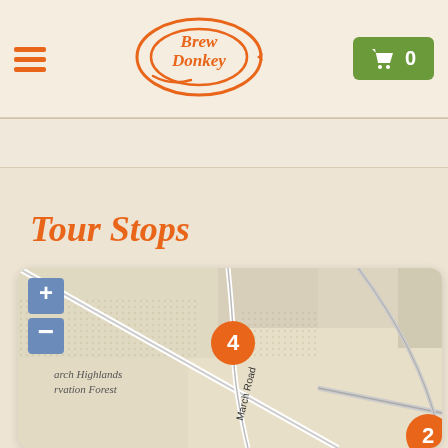[Figure (logo): Brew Donkey oval logo in orange]
[Figure (screenshot): Green cart button with shopping cart icon and '0']
Tour Stops
[Figure (map): Interactive map showing tour stops. Stop 4 marked with orange circle on March Road near March Highlands Conservation Forest. Stop 2 partially visible in bottom right. Map has + and - zoom controls in blue on the left.]